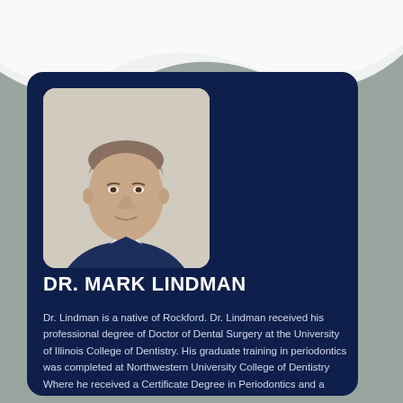[Figure (photo): Professional headshot of Dr. Mark Lindman, a middle-aged man with gray-brown hair wearing a dark navy blazer and striped tie, photographed against a light background]
DR. MARK LINDMAN
Dr. Lindman is a native of Rockford. Dr. Lindman received his professional degree of Doctor of Dental Surgery at the University of Illinois College of Dentistry. His graduate training in periodontics was completed at Northwestern University College of Dentistry Where he received a Certificate Degree in Periodontics and a Master of Science degree.